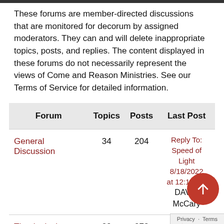These forums are member-directed discussions that are monitored for decorum by assigned moderators. They can and will delete inappropriate topics, posts, and replies. The content displayed in these forums do not necessarily represent the views of Come and Reason Ministries. See our Terms of Service for detailed information.
| Forum | Topics | Posts | Last Post |
| --- | --- | --- | --- |
| General Discussion | 34 | 204 | Reply To: Speed of Light 8/18/2022 at 12:13 pm
DAVID McCary |
| Theological Discussion | 39 | 378 | who is to judge? |